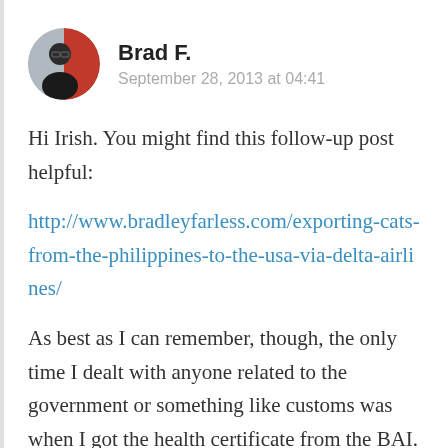Brad F.
September 28, 2013 at 04:41
Hi Irish. You might find this follow-up post helpful:
http://www.bradleyfarless.com/exporting-cats-from-the-philippines-to-the-usa-via-delta-airlines/
As best as I can remember, though, the only time I dealt with anyone related to the government or something like customs was when I got the health certificate from the BAI. When I got to the airport, Ma bla... (text cut off)